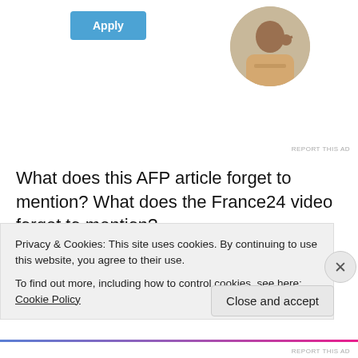[Figure (other): Apply button (blue) and circular avatar photo of a man thinking at a desk]
REPORT THIS AD
What does this AFP article forget to mention? What does the France24 video forget to mention?
1. Bloody military dictator Sanogo was educated by the United States military command for Africa, AFRICOM.
2. The military invasion of Mali by foreign troops (mainly French, now including Dutch, etc.) was originally to help
Privacy & Cookies: This site uses cookies. By continuing to use this website, you agree to their use.
To find out more, including how to control cookies, see here: Cookie Policy
REPORT THIS AD